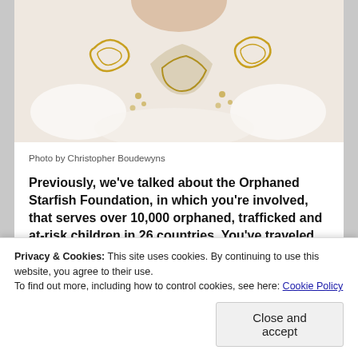[Figure (photo): Photo of a person wearing an ornate white and gold embroidered garment, partially cropped at top]
Photo by Christopher Boudewyns
Previously, we've talked about the Orphaned Starfish Foundation, in which you're involved, that serves over 10,000 orphaned, trafficked and at-risk children in 26 countries. You've traveled both to Nicaragua and Puerto Rico with the organization in the past, so I'd love to know what's happening with the organization right now?
[Figure (photo): Partial image with red background, bottom of page]
Privacy & Cookies: This site uses cookies. By continuing to use this website, you agree to their use.
To find out more, including how to control cookies, see here: Cookie Policy
Close and accept